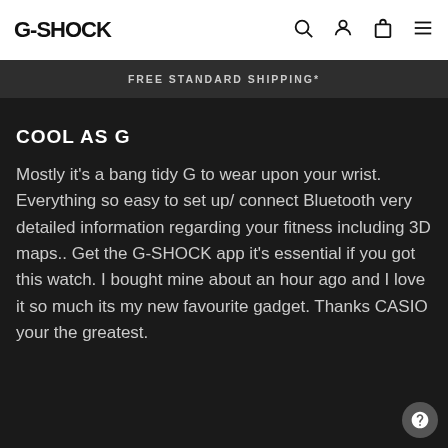G-SHOCK
FREE STANDARD SHIPPING*
COOL AS G
Mostly it's a bang tidy G to wear upon your wrist. Everything so easy to set up/ connect Bluetooth very detailed information regarding your fitness including 3D maps.. Get the G-SHOCK app it's essential if you got this watch. I bought mine about an hour ago and I love it so much its my new favourite gadget. Thanks CASIO your the greatest.